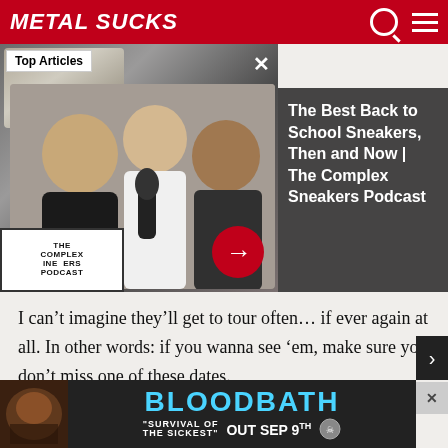MetalSucks
[Figure (screenshot): Advertisement overlay showing The Complex Sneakers Podcast with three men and sneaker imagery. Right panel shows text: The Best Back to School Sneakers, Then and Now | The Complex Sneakers Podcast. Top Articles badge visible.]
I can’t imagine they’ll get to tour often… if ever again at all. In other words: if you wanna see ‘em, make sure you don’t miss one of these dates.
The itinerary is below, courtesy of The PRP:
11/29 Boston, MA – The Sinclair
12/01 [partial, cut off]
[Figure (screenshot): Bloodbath album ad: BLOODBATH OUT SEP 9th - SURVIVAL OF THE SICKEST]